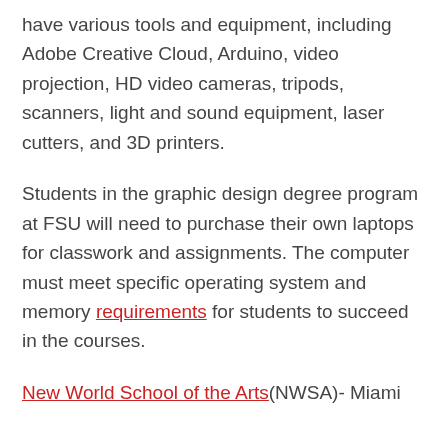have various tools and equipment, including Adobe Creative Cloud, Arduino, video projection, HD video cameras, tripods, scanners, light and sound equipment, laser cutters, and 3D printers.
Students in the graphic design degree program at FSU will need to purchase their own laptops for classwork and assignments. The computer must meet specific operating system and memory requirements for students to succeed in the courses.
New World School of the Arts(NWSA)- Miami